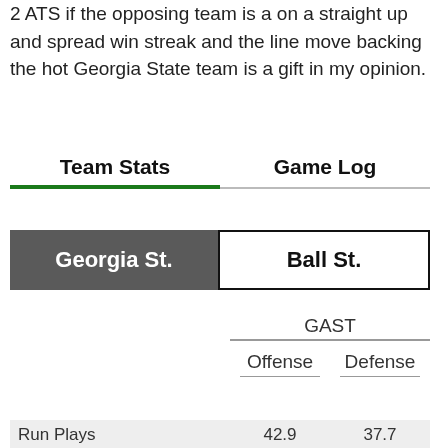2 ATS if the opposing team is a on a straight up and spread win streak and the line move backing the hot Georgia State team is a gift in my opinion.
Team Stats	Game Log
|  | Georgia St. | Ball St. |
| --- | --- | --- |
|  | GAST |  |
| --- | --- | --- |
|  | Offense | Defense |
| Run Plays | 42.9 | 37.7 |